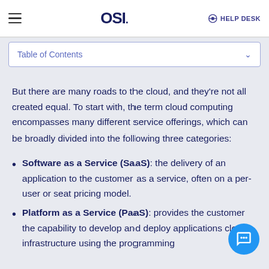OSI | HELP DESK
Table of Contents
But there are many roads to the cloud, and they're not all created equal. To start with, the term cloud computing encompasses many different service offerings, which can be broadly divided into the following three categories:
Software as a Service (SaaS): the delivery of an application to the customer as a service, often on a per-user or seat pricing model.
Platform as a Service (PaaS): provides the customer the capability to develop and deploy applications cloud infrastructure using the programming